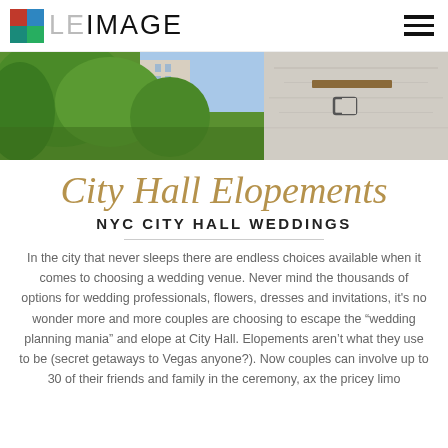LE IMAGE
[Figure (photo): Two-panel banner image: left panel shows green trees with a building in the background under blue sky; right panel shows a close-up of a concrete or stone wall with a small metal placard.]
City Hall Elopements
NYC CITY HALL WEDDINGS
In the city that never sleeps there are endless choices available when it comes to choosing a wedding venue. Never mind the thousands of options for wedding professionals, flowers, dresses and invitations, it's no wonder more and more couples are choosing to escape the "wedding planning mania" and elope at City Hall. Elopements aren't what they use to be (secret getaways to Vegas anyone?). Now couples can involve up to 30 of their friends and family in the ceremony, ax the pricey limo